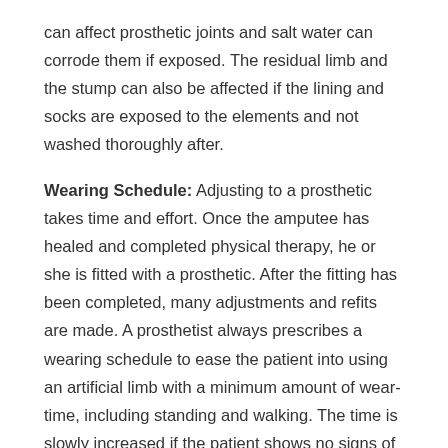can affect prosthetic joints and salt water can corrode them if exposed. The residual limb and the stump can also be affected if the lining and socks are exposed to the elements and not washed thoroughly after.
Wearing Schedule: Adjusting to a prosthetic takes time and effort. Once the amputee has healed and completed physical therapy, he or she is fitted with a prosthetic. After the fitting has been completed, many adjustments and refits are made. A prosthetist always prescribes a wearing schedule to ease the patient into using an artificial limb with a minimum amount of wear-time, including standing and walking. The time is slowly increased if the patient shows no signs of discomfort.
Other Factors:
Affordability: Some of the more advanced prosthetic limbs can be very expensive. Artificial bionic limbs made for high levels of usage